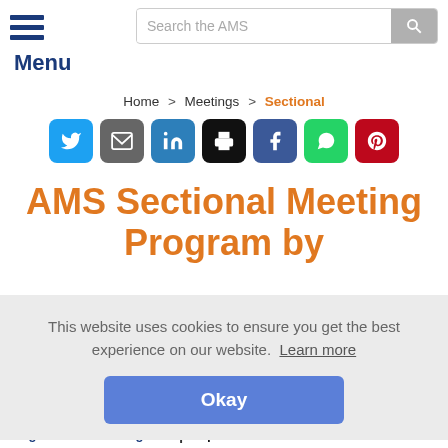Search the AMS | Menu
Home > Meetings > Sectional
[Figure (infographic): Row of social sharing buttons: Twitter (blue), Email (gray), LinkedIn (blue), Print (black), Facebook (dark blue), WhatsApp (green), Pinterest (red)]
AMS Sectional Meeting Program by
This website uses cookies to ensure you get the best experience on our website. Learn more
Okay
Registration/Housing/Etc. | Inquiries: